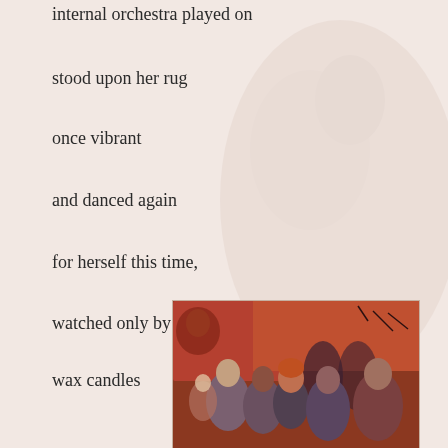internal orchestra played on
stood upon her rug
once vibrant
and danced again
for herself this time,
watched only by flickering
wax candles
[Figure (illustration): A painting showing a crowd of figures in warm orange and red tones, with people gathered together in what appears to be a festive or social scene, rendered in an expressionist style.]